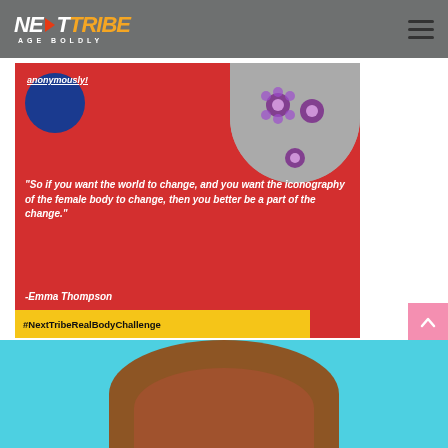NEXTTRIBE AGE BOLDLY
[Figure (photo): Red promotional card for #NextTribeRealBodyChallenge featuring a quote by Emma Thompson: "So if you want the world to change, and you want the iconography of the female body to change, then you better be a part of the change." with a yellow hashtag banner at the bottom, a blue circle, and a grayscale body photo with purple flower overlays at top right. Below is a partial photo of a person with brown hair on a teal background.]